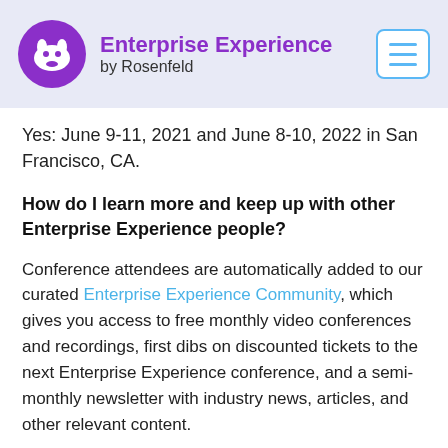Enterprise Experience by Rosenfeld
Yes: June 9-11, 2021 and June 8-10, 2022 in San Francisco, CA.
How do I learn more and keep up with other Enterprise Experience people?
Conference attendees are automatically added to our curated Enterprise Experience Community, which gives you access to free monthly video conferences and recordings, first dibs on discounted tickets to the next Enterprise Experience conference, and a semi-monthly newsletter with industry news, articles, and other relevant content.